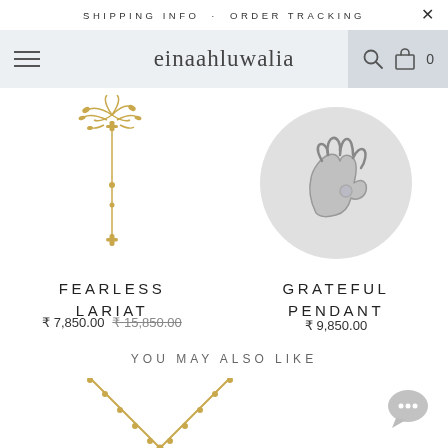SHIPPING INFO · ORDER TRACKING
einaahluwalia
[Figure (photo): Gold Fearless Lariat earring/necklace product photo on white background]
FEARLESS LARIAT
₹ 7,850.00  ₹ 15,850.00
[Figure (photo): Silver Grateful Pendant product photo in circular frame on grey background]
GRATEFUL PENDANT
₹ 9,850.00
YOU MAY ALSO LIKE
[Figure (photo): Gold V-shaped necklace product photo, partially visible at bottom of page]